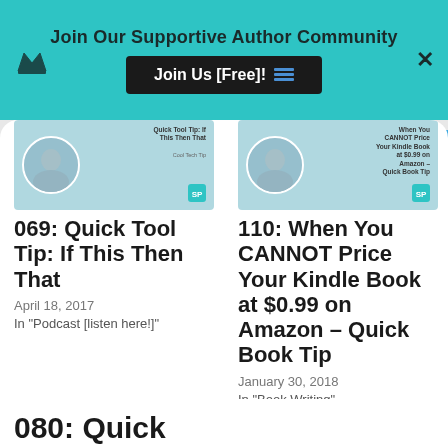Join Our Supportive Author Community
Join Us [Free]!
[Figure (photo): Thumbnail image for podcast episode 069: Quick Tool Tip: If This Then That]
069: Quick Tool Tip: If This Then That
April 18, 2017
In "Podcast [listen here!]"
[Figure (photo): Thumbnail image for podcast episode 110: When You CANNOT Price Your Kindle Book at $0.99 on Amazon – Quick Book Tip]
110: When You CANNOT Price Your Kindle Book at $0.99 on Amazon – Quick Book Tip
January 30, 2018
In "Book Writing"
080: Quick